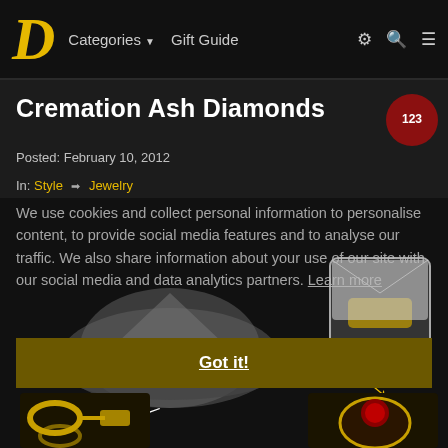D  Categories ▼  Gift Guide
Cremation Ash Diamonds
Posted: February 10, 2012
In: Style ➡ Jewelry
[Figure (photo): Jewelry article hero image showing ash pile transforming into diamond ring, with cufflinks and ruby ring below, and arrows indicating transformation process]
We use cookies and collect personal information to personalise content, to provide social media features and to analyse our traffic. We also share information about your use of our site with our social media and data analytics partners. Learn more
Got it!